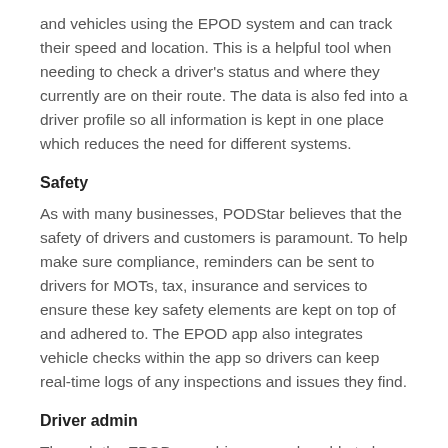and vehicles using the EPOD system and can track their speed and location. This is a helpful tool when needing to check a driver's status and where they currently are on their route. The data is also fed into a driver profile so all information is kept in one place which reduces the need for different systems.
Safety
As with many businesses, PODStar believes that the safety of drivers and customers is paramount. To help make sure compliance, reminders can be sent to drivers for MOTs, tax, insurance and services to ensure these key safety elements are kept on top of and adhered to. The EPOD app also integrates vehicle checks within the app so drivers can keep real-time logs of any inspections and issues they find.
Driver admin
Through the EPOD app, drivers are also able to log timesheets, holiday requests and expenses. Not only does this reduce the paperwork needed, but it also reduces the time spent on administration by